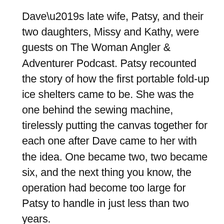Dave's late wife, Patsy, and their two daughters, Missy and Kathy, were guests on The Woman Angler & Adventurer Podcast. Patsy recounted the story of how the first portable fold-up ice shelters came to be. She was the one behind the sewing machine, tirelessly putting the canvas together for each one after Dave came to her with the idea. One became two, two became six, and the next thing you know, the operation had become too large for Patsy to handle in just less than two years.
“This lady here deserves an awful lot of credit for what she did,” said Kathy proudly of her mom.